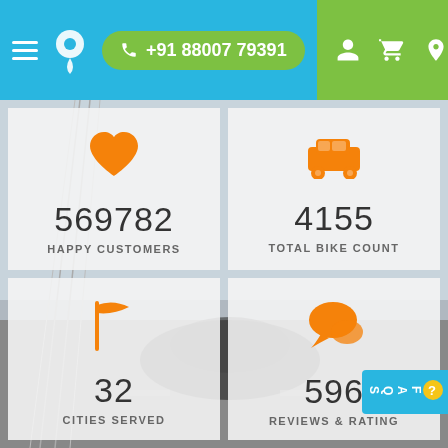[Figure (screenshot): App header with hamburger menu, location pin logo, phone number button '+91 88007 79391', and right section with user, cart, and location icons on green background]
[Figure (infographic): Four stat cards on a road/bridge background: 569782 Happy Customers (heart icon), 4155 Total Bike Count (car icon), 32 Cities Served (flag icon), 596 Reviews (chat icon)]
569782
HAPPY CUSTOMERS
4155
TOTAL BIKE COUNT
32
CITIES SERVED
596
REVIEWS & RATING